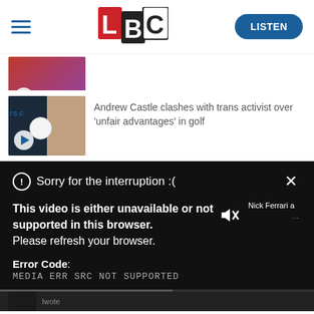[Figure (screenshot): LBC website header with hamburger menu, LBC logo, and LISTEN button]
[Figure (screenshot): Partially visible LBC article thumbnail with play button]
[Figure (screenshot): LBC article thumbnail showing Andrew Castle and person with headphones with play button]
Andrew Castle clashes with trans activist over 'unfair advantages' in golf
[Figure (screenshot): Video player error overlay on dark background showing error message]
Sorry for the interruption :(
This video is either unavailable or not supported in this browser. Please refresh your browser.
Error Code: MEDIA ERR SRC NOT SUPPORTED
Nick Ferrari a ...